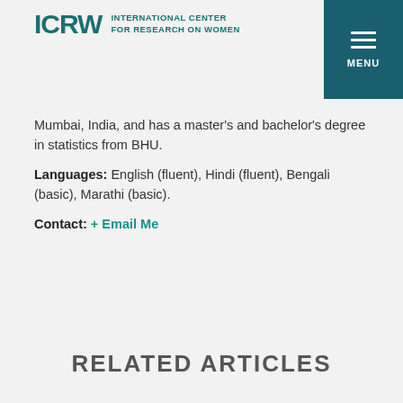ICRW INTERNATIONAL CENTER FOR RESEARCH ON WOMEN
Mumbai, India, and has a master's and bachelor's degree in statistics from BHU.
Languages: English (fluent), Hindi (fluent), Bengali (basic), Marathi (basic).
Contact: + Email Me
RELATED ARTICLES